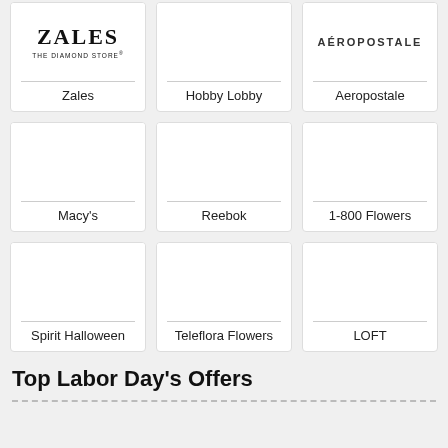[Figure (other): Grid of store/brand logo cards: Zales, Hobby Lobby, Aeropostale, Macy's, Reebok, 1-800 Flowers, Spirit Halloween, Teleflora Flowers, LOFT]
Top Labor Day's Offers